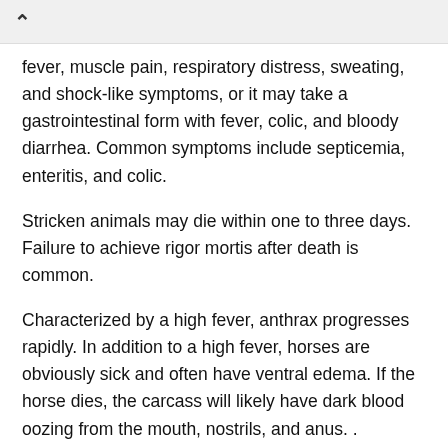fever, muscle pain, respiratory distress, sweating, and shock-like symptoms, or it may take a gastrointestinal form with fever, colic, and bloody diarrhea. Common symptoms include septicemia, enteritis, and colic.
Stricken animals may die within one to three days. Failure to achieve rigor mortis after death is common.
Characterized by a high fever, anthrax progresses rapidly. In addition to a high fever, horses are obviously sick and often have ventral edema. If the horse dies, the carcass will likely have dark blood oozing from the mouth, nostrils, and anus. .
Because anthrax is known as "the quick killer," diagnosis may be based on the clinical signs, but it is routine to confirm the presence of Bacillus anthracis